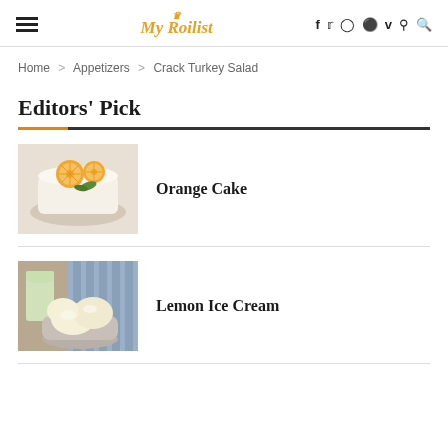My Roilist — navigation header with hamburger menu, logo, social icons (f, twitter, instagram, pinterest, vimeo, reddit, search)
Home > Appetizers > Crack Turkey Salad
Editors' Pick
[Figure (photo): Top-down view of an orange cake with orange slices on top and green leaf garnish]
Orange Cake
[Figure (photo): Lemon ice cream scoops in a metal bowl with a glass of lemonade in the background]
Lemon Ice Cream